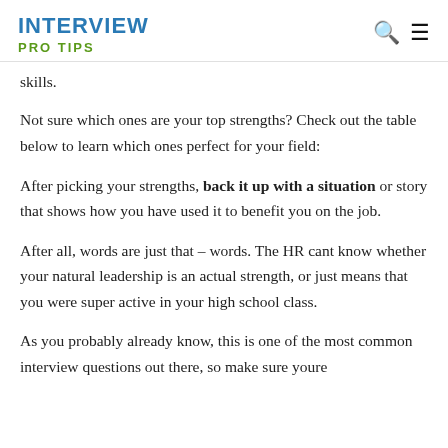INTERVIEW PRO TIPS
skills.
Not sure which ones are your top strengths? Check out the table below to learn which ones perfect for your field:
After picking your strengths, back it up with a situation or story that shows how you have used it to benefit you on the job.
After all, words are just that – words. The HR cant know whether your natural leadership is an actual strength, or just means that you were super active in your high school class.
As you probably already know, this is one of the most common interview questions out there, so make sure youre